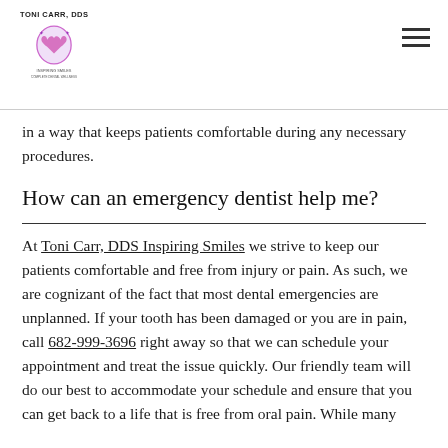TONI CARR, DDS Inspiring Smiles Complete Dental Wellness
in a way that keeps patients comfortable during any necessary procedures.
How can an emergency dentist help me?
At Toni Carr, DDS Inspiring Smiles we strive to keep our patients comfortable and free from injury or pain. As such, we are cognizant of the fact that most dental emergencies are unplanned. If your tooth has been damaged or you are in pain, call 682-999-3696 right away so that we can schedule your appointment and treat the issue quickly. Our friendly team will do our best to accommodate your schedule and ensure that you can get back to a life that is free from oral pain. While many